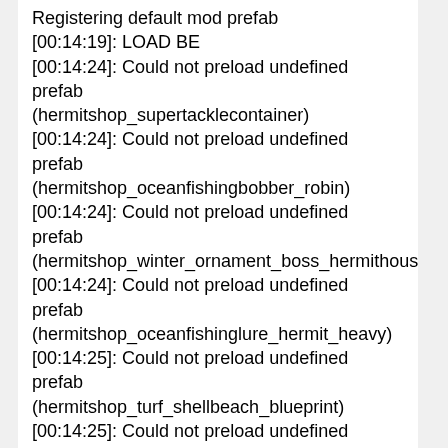Registering default mod prefab
[00:14:19]: LOAD BE
[00:14:24]: Could not preload undefined prefab (hermitshop_supertacklecontainer)
[00:14:24]: Could not preload undefined prefab (hermitshop_oceanfishingbobber_robin)
[00:14:24]: Could not preload undefined prefab (hermitshop_winter_ornament_boss_hermithouse)
[00:14:24]: Could not preload undefined prefab (hermitshop_oceanfishinglure_hermit_heavy)
[00:14:25]: Could not preload undefined prefab (hermitshop_turf_shellbeach_blueprint)
[00:14:25]: Could not preload undefined prefab (yotc_shrinecarrat)
[00:14:25]: Could not preload undefined prefab (hermitshop_oceanfishinglure_hermit_rain)
[00:14:25]: Could not preload undefined prefab (hermitshop_tacklecontainer)
[00:14:25]: Could not preload undefined prefab